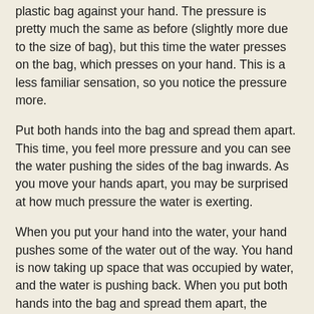plastic bag against your hand. The pressure is pretty much the same as before (slightly more due to the size of bag), but this time the water presses on the bag, which presses on your hand. This is a less familiar sensation, so you notice the pressure more.
Put both hands into the bag and spread them apart. This time, you feel more pressure and you can see the water pushing the sides of the bag inwards. As you move your hands apart, you may be surprised at how much pressure the water is exerting.
When you put your hand into the water, your hand pushes some of the water out of the way. You hand is now taking up space that was occupied by water, and the water is pushing back. When you put both hands into the bag and spread them apart, the water pushed back harder. If you measured it carefully, you would find that the water was pushing with a force equal to the weight of the amount of water that you push out of the way. When you spread your hands apart, the